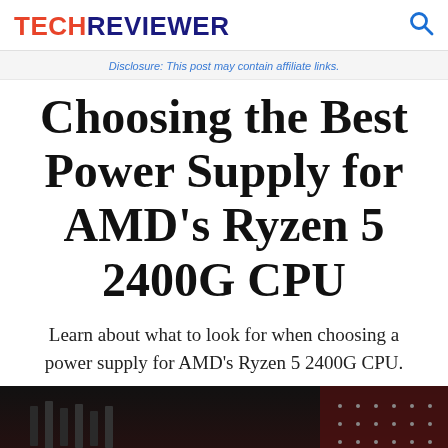TECHREVIEWER
Disclosure: This post may contain affiliate links.
Choosing the Best Power Supply for AMD's Ryzen 5 2400G CPU
Learn about what to look for when choosing a power supply for AMD's Ryzen 5 2400G CPU.
[Figure (photo): Dark close-up photo of computer hardware components including what appears to be a power supply or PC chassis]